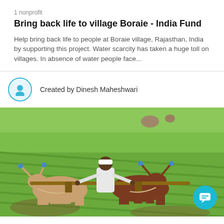1 nonprofit
Bring back life to village Boraie - India Fund
Help bring back life to people at Boraie village, Rajasthan, India by supporting this project. Water scarcity has taken a huge toll on villages. In absence of water people face...
Created by Dinesh Maheshwari
[Figure (photo): A farmer in a white shirt and white headband plowing a green agricultural field using two oxen (one tan/light brown and one dark brown/maroon) with blue-tipped horns, harnessed together with a wooden yoke and plow. The field shows neat rows and is lush green.]